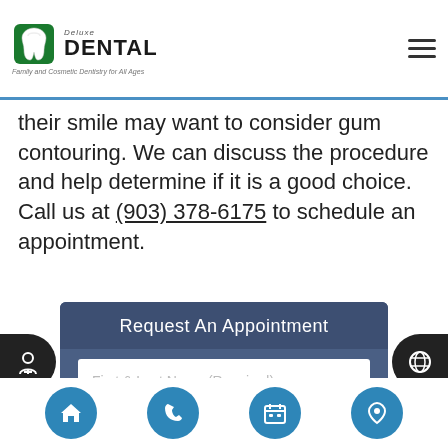Deluxe Dental — Family and Cosmetic Dentistry for All Ages
their smile may want to consider gum contouring. We can discuss the procedure and help determine if it is a good choice. Call us at (903) 378-6175 to schedule an appointment.
Request An Appointment
First & Last Name (Required)
Email (Required)